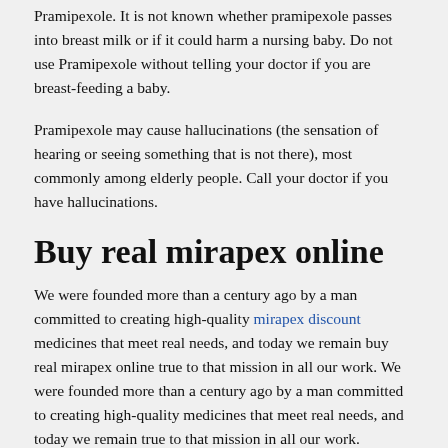Pramipexole. It is not known whether pramipexole passes into breast milk or if it could harm a nursing baby. Do not use Pramipexole without telling your doctor if you are breast-feeding a baby.
Pramipexole may cause hallucinations (the sensation of hearing or seeing something that is not there), most commonly among elderly people. Call your doctor if you have hallucinations.
Buy real mirapex online
We were founded more than a century ago by a man committed to creating high-quality mirapex discount medicines that meet real needs, and today we remain buy real mirapex online true to that mission in all our work. We were founded more than a century ago by a man committed to creating high-quality medicines that meet real needs, and today we remain true to that mission in all our work. NYSE:PFE) and Eli Lilly and Company (NYSE: LLY) will participate in the first quarter of 2021